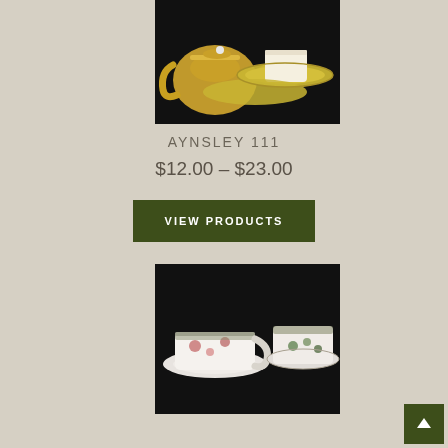[Figure (photo): Yellow Aynsley teapot and teacup with saucer on dark background]
AYNSLEY 111
$12.00 – $23.00
VIEW PRODUCTS
[Figure (photo): Vintage floral patterned teacups and saucers with silver trim on dark background]